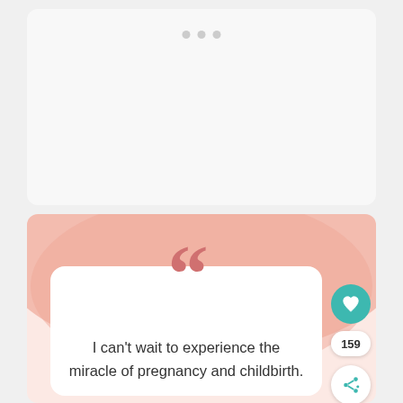[Figure (screenshot): Top card area with light gray background and three dot page indicators centered at the top]
[Figure (illustration): Quote card with peach/pink background blob shape, large salmon-colored quotation marks, white card containing the quote text, with teal heart like button (159 likes) and white share button on the right side]
I can't wait to experience the miracle of pregnancy and childbirth.